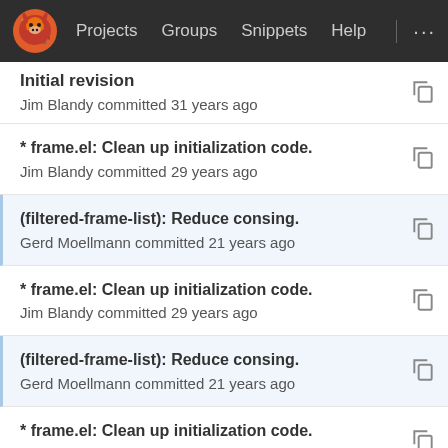Projects  Groups  Snippets  Help  ...
Initial revision
Jim Blandy committed 31 years ago
* frame.el: Clean up initialization code.
Jim Blandy committed 29 years ago
(filtered-frame-list): Reduce consing.
Gerd Moellmann committed 21 years ago
* frame.el: Clean up initialization code.
Jim Blandy committed 29 years ago
(filtered-frame-list): Reduce consing.
Gerd Moellmann committed 21 years ago
* frame.el: Clean up initialization code.
Jim Blandy committed 29 years ago
(filtered-frame-list): Reduce consing.
Gerd Moellmann committed 21 years ago